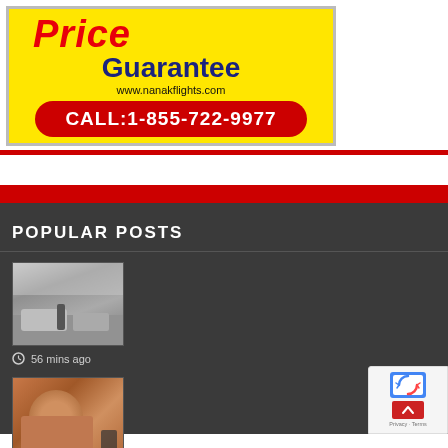[Figure (illustration): Advertisement banner on yellow background. Text reads 'Price Guarantee' in red/navy, website www.nanakflights.com, and a red rounded rectangle with 'CALL:1-855-722-9977' in white bold text.]
POPULAR POSTS
[Figure (photo): Grayscale photo showing cars and people standing on a misty road.]
56 mins ago
[Figure (photo): Color photo showing a close-up of a person's face.]